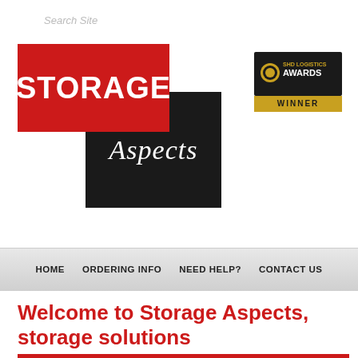Search Site
[Figure (logo): Storage Aspects logo: red rectangle with white STORAGE text overlapping black rhombus shape with white italic Aspects text]
[Figure (logo): SHD Logistics Awards Winner badge - black and gold rectangular badge]
HOME   ORDERING INFO   NEED HELP?   CONTACT US
Welcome to Storage Aspects, storage solutions